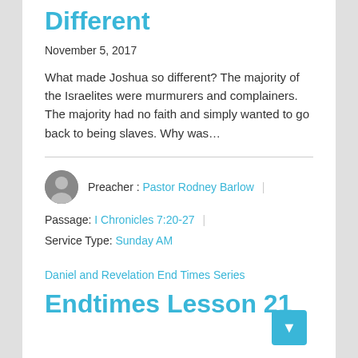Different
November 5, 2017
What made Joshua so different? The majority of the Israelites were murmurers and complainers. The majority had no faith and simply wanted to go back to being slaves. Why was…
Preacher : Pastor Rodney Barlow
Passage: I Chronicles 7:20-27
Service Type: Sunday AM
Daniel and Revelation End Times Series
Endtimes Lesson 21